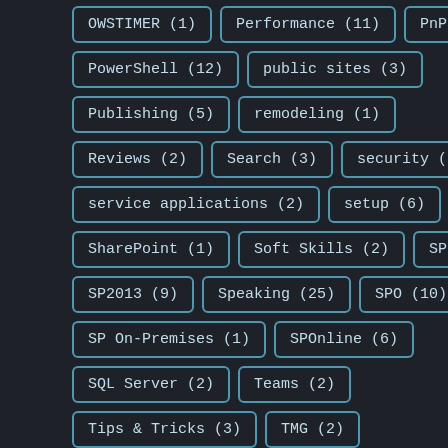OWSTIMER (1)
Performance (11)
PnP (1)
PowerShell (12)
public sites (3)
Publishing (5)
remodeling (1)
Reviews (2)
Search (3)
security (3)
service applications (2)
setup (6)
SharePoint (1)
Soft Skills (2)
SP2010 (11)
SP2013 (9)
Speaking (25)
SPO (10)
SP On-Premises (1)
SPOnline (6)
SQL Server (2)
Teams (2)
Tips & Tricks (3)
TMG (2)
Troubleshooting (1)
user profile service (2)